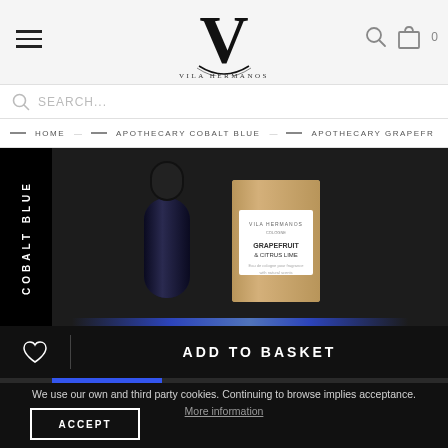Vila Hermanos - Navigation header with logo, hamburger menu, search and cart icons
SEARCH...
HOME — APOTHECARY COBALT BLUE — APOTHECARY GRAPEFR...
[Figure (photo): Product photo showing Vila Hermanos Apothecary Cobalt Blue perfume bottle and Grapefruit & Citrus Lime packaged box on dark background, with vertical 'COBALT BLUE' text label on left side]
ADD TO BASKET
We use our own and third party cookies. Continuing to browse implies acceptance.  More information
ACCEPT